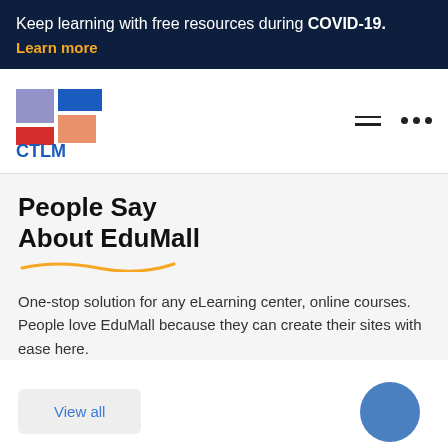Keep learning with free resources during COVID-19. Learn more
[Figure (logo): CTLM logo with colored blocks (purple, blue, red, orange) arranged in a grid pattern above the text CTLM in blue bold letters]
People Say About EduMall
One-stop solution for any eLearning center, online courses. People love EduMall because they can create their sites with ease here.
View all